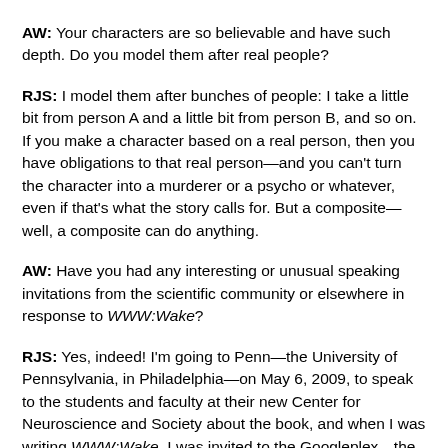AW: Your characters are so believable and have such depth. Do you model them after real people?
RJS: I model them after bunches of people: I take a little bit from person A and a little bit from person B, and so on. If you make a character based on a real person, then you have obligations to that real person—and you can't turn the character into a murderer or a psycho or whatever, even if that's what the story calls for. But a composite—well, a composite can do anything.
AW: Have you had any interesting or unusual speaking invitations from the scientific community or elsewhere in response to WWW:Wake?
RJS: Yes, indeed! I'm going to Penn—the University of Pennsylvania, in Philadelphia—on May 6, 2009, to speak to the students and faculty at their new Center for Neuroscience and Society about the book, and when I was writing WWW:Wake, I was invited to the Googleplex—the international headquarters of Google—where I gave a talk on